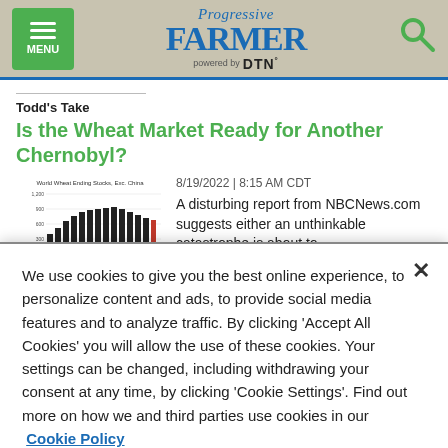Progressive Farmer powered by DTN
Todd's Take
Is the Wheat Market Ready for Another Chernobyl?
[Figure (bar-chart): World Wheat Ending Stocks, Exc. China - bar chart thumbnail showing declining then rising stocks]
8/19/2022 | 8:15 AM CDT
A disturbing report from NBCNews.com suggests either an unthinkable catastrophe is about to...
We use cookies to give you the best online experience, to personalize content and ads, to provide social media features and to analyze traffic. By clicking 'Accept All Cookies' you will allow the use of these cookies. Your settings can be changed, including withdrawing your consent at any time, by clicking 'Cookie Settings'. Find out more on how we and third parties use cookies in our Cookie Policy
Cookies Settings
Accept All Cookies